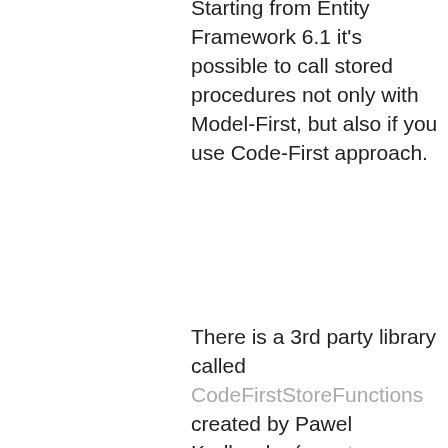Starting from Entity Framework 6.1 it's possible to call stored procedures not only with Model-First, but also if you use Code-First approach.
There is a 3rd party library called CodeFirstStoreFunctions created by Pawel Kadluczka (nuget package) which makes it much easier.
In my situation I wanted to fine-tune a Linq to Entities query to improve the performance:
measurement = context.Measure